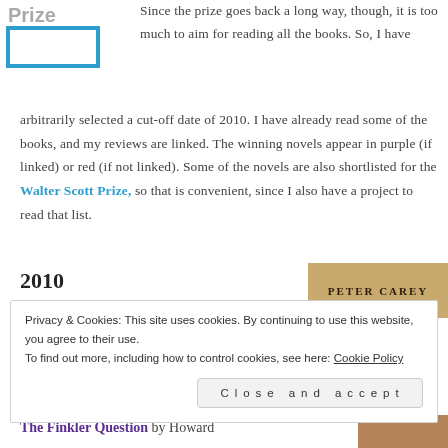[Figure (logo): Partial logo showing 'Prize' text with a blue bracket/frame graphic]
Since the prize goes back a long way, though, it is too much to aim for reading all the books. So, I have arbitrarily selected a cut-off date of 2010. I have already read some of the books, and my reviews are linked. The winning novels appear in purple (if linked) or red (if not linked). Some of the novels are also shortlisted for the Walter Scott Prize, so that is convenient, since I also have a project to read that list.
2010
[Figure (illustration): Book cover showing 'PETER CAREY' in large letters on a tan/gold background]
Privacy & Cookies: This site uses cookies. By continuing to use this website, you agree to their use.
To find out more, including how to control cookies, see here: Cookie Policy
Close and accept
The Finkler Question by Howard